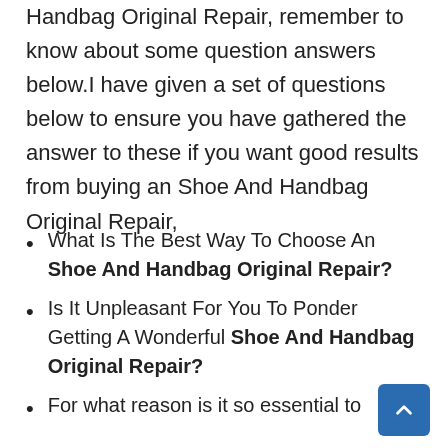Handbag Original Repair, remember to know about some question answers below.I have given a set of questions below to ensure you have gathered the answer to these if you want good results from buying an Shoe And Handbag Original Repair,
What Is The Best Way To Choose An Shoe And Handbag Original Repair?
Is It Unpleasant For You To Ponder Getting A Wonderful Shoe And Handbag Original Repair?
For what reason is it so essential to